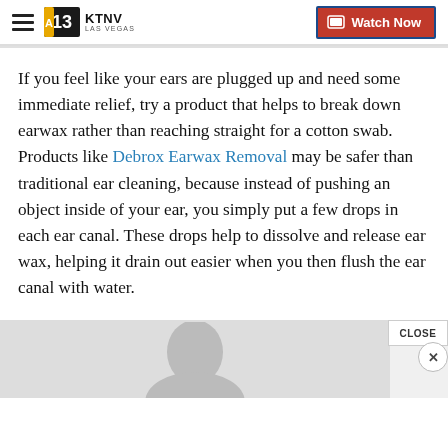KTNV LAS VEGAS | Watch Now
If you feel like your ears are plugged up and need some immediate relief, try a product that helps to break down earwax rather than reaching straight for a cotton swab. Products like Debrox Earwax Removal may be safer than traditional ear cleaning, because instead of pushing an object inside of your ear, you simply put a few drops in each ear canal. These drops help to dissolve and release ear wax, helping it drain out easier when you then flush the ear canal with water.
[Figure (photo): Partial view of a person's head/face visible at the bottom of the page, part of an advertisement overlay with a CLOSE button and X dismiss button]